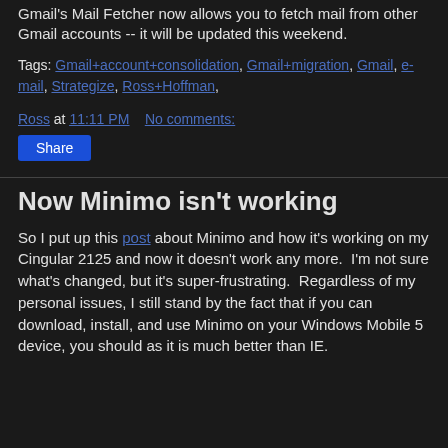Gmail's Mail Fetcher now allows you to fetch mail from other Gmail accounts -- it will be updated this weekend.
Tags: Gmail+account+consolidation, Gmail+migration, Gmail, e-mail, Strategize, Ross+Hoffman,
Ross at 11:11 PM    No comments:
Share
Now Minimo isn't working
So I put up this post about Minimo and how it's working on my Cingular 2125 and now it doesn't work any more.  I'm not sure what's changed, but it's super-frustrating.  Regardless of my personal issues, I still stand by the fact that if you can download, install, and use Minimo on your Windows Mobile 5 device, you should as it is much better than IE.